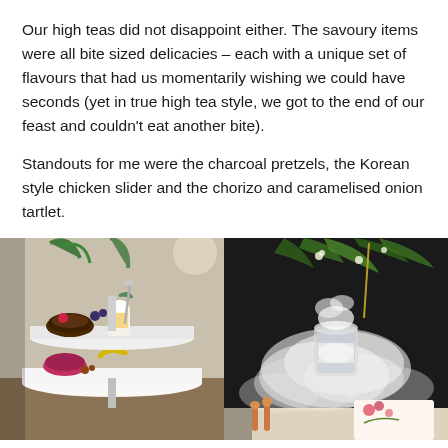Our high teas did not disappoint either. The savoury items were all bite sized delicacies – each with a unique set of flavours that had us momentarily wishing we could have seconds (yet in true high tea style, we got to the end of our feast and couldn't eat another bite).
Standouts for me were the charcoal pretzels, the Korean style chicken slider and the chorizo and caramelised onion tartlet.
[Figure (photo): Two side-by-side food photos: left shows a tiered white cake stand with high tea desserts and savoury items including a chocolate tart, cream-topped glass dessert, and other small bites with garnishes; right shows a smoky cocktail or drink in a glass surrounded by dry ice smoke, with greenery and foliage in the background and a floral menu card visible.]